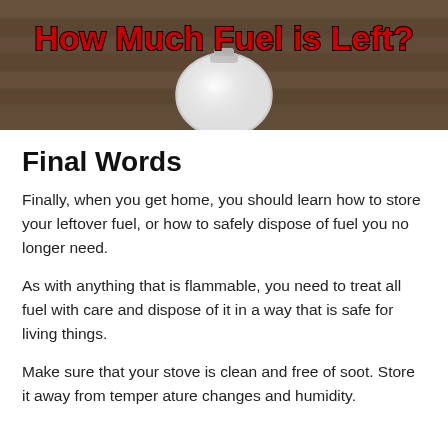[Figure (photo): Hero image of a camping fuel canister on wooden boards with text overlay reading 'How Much Fuel is Left?' in red bold letters]
Final Words
Finally, when you get home, you should learn how to store your leftover fuel, or how to safely dispose of fuel you no longer need.
As with anything that is flammable, you need to treat all fuel with care and dispose of it in a way that is safe for living things.
Make sure that your stove is clean and free of soot. Store it away from temperature changes and humidity.